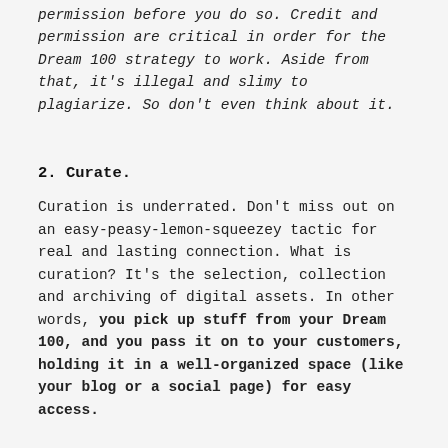permission before you do so. Credit and permission are critical in order for the Dream 100 strategy to work. Aside from that, it's illegal and slimy to plagiarize. So don't even think about it.
2. Curate.
Curation is underrated. Don't miss out on an easy-peasy-lemon-squeezey tactic for real and lasting connection. What is curation? It's the selection, collection and archiving of digital assets. In other words, you pick up stuff from your Dream 100, and you pass it on to your customers, holding it in a well-organized space (like your blog or a social page) for easy access.